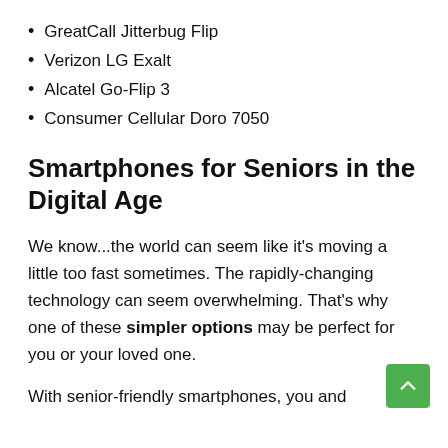GreatCall Jitterbug Flip
Verizon LG Exalt
Alcatel Go-Flip 3
Consumer Cellular Doro 7050
Smartphones for Seniors in the Digital Age
We know...the world can seem like it's moving a little too fast sometimes. The rapidly-changing technology can seem overwhelming. That's why one of these simpler options may be perfect for you or your loved one.
With senior-friendly smartphones, you and